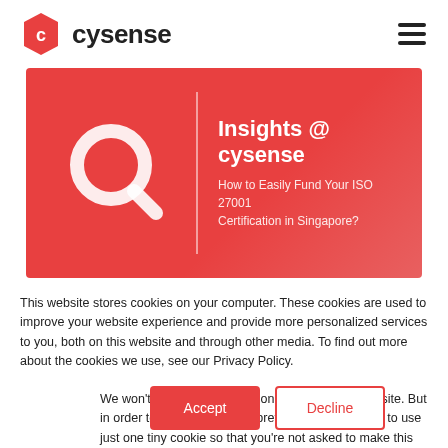[Figure (logo): Cysense company logo with hexagon icon and wordmark 'cysense']
[Figure (illustration): Red banner with magnifying glass icon on left, vertical divider, 'Insights @ cysense' title and 'How to Easily Fund Your ISO 27001 Certification in Singapore?' subtitle on right]
This website stores cookies on your computer. These cookies are used to improve your website experience and provide more personalized services to you, both on this website and through other media. To find out more about the cookies we use, see our Privacy Policy.
We won't track your information when you visit our site. But in order to comply with your preferences, we'll have to use just one tiny cookie so that you're not asked to make this choice again.